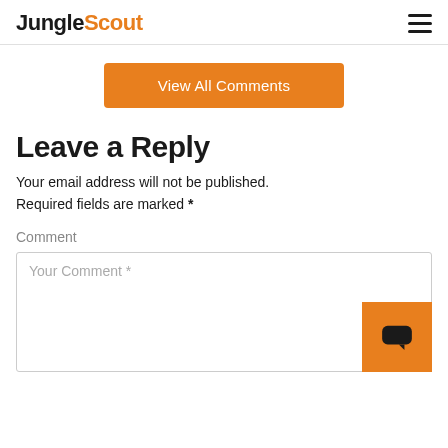JungleScout
View All Comments
Leave a Reply
Your email address will not be published. Required fields are marked *
Comment
[Figure (screenshot): Text area input box with placeholder text 'Your Comment *']